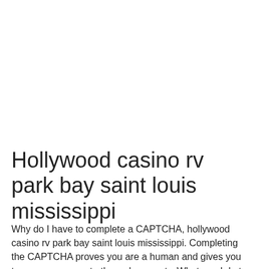Hollywood casino rv park bay saint louis mississippi
Why do I have to complete a CAPTCHA, hollywood casino rv park bay saint louis mississippi. Completing the CAPTCHA proves you are a human and gives you temporary access to the web property. What can I do to prevent this in the future? NetEnt takes away the limelight with 160+ titles, hollywood casino rv park bay saint